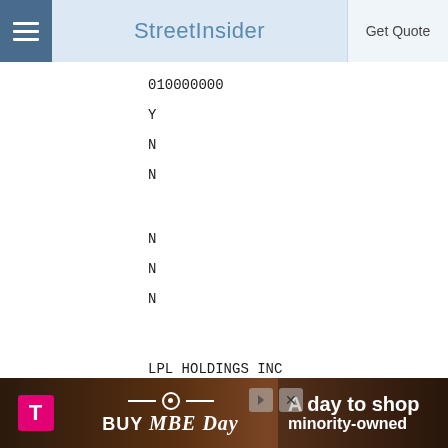StreetInsider
010000000
Y
N
N
N
N
N
LPL HOLDINGS INC
549300Z5YF8CCRMYUL26
50212YAD6
100000.00000000
PA
U